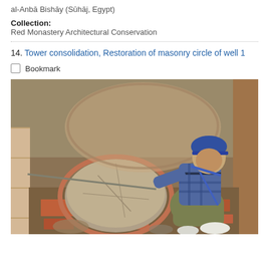al-Anbā Bishāy (Sūhāj, Egypt)
Collection: Red Monastery Architectural Conservation
14. Tower consolidation, Restoration of masonry circle of well 1
Bookmark
[Figure (photo): A worker in a blue cap and plaid shirt kneeling inside an excavated stone/brick enclosure, working on restoration of a circular masonry well structure. The well shows a large circular stone cap and surrounding brick debris.]